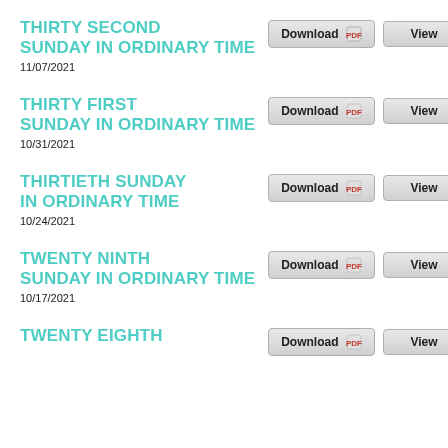THIRTY SECOND SUNDAY IN ORDINARY TIME
11/07/2021
THIRTY FIRST SUNDAY IN ORDINARY TIME
10/31/2021
THIRTIETH SUNDAY IN ORDINARY TIME
10/24/2021
TWENTY NINTH SUNDAY IN ORDINARY TIME
10/17/2021
TWENTY EIGHTH